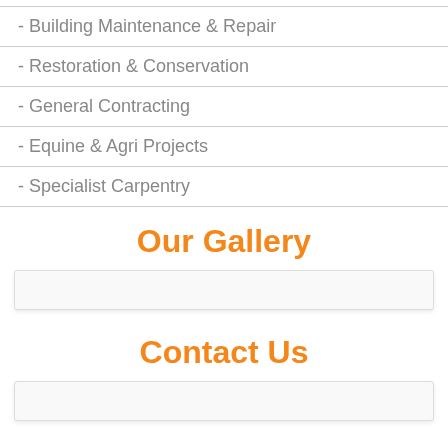- Building Maintenance & Repair
- Restoration & Conservation
- General Contracting
- Equine & Agri Projects
- Specialist Carpentry
Our Gallery
[Figure (other): Gallery input/display box]
Contact Us
[Figure (other): Contact input box]